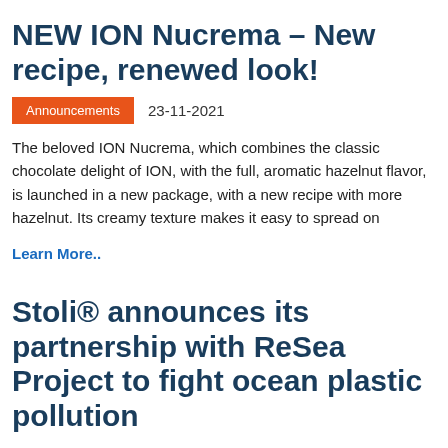NEW ION Nucrema – New recipe, renewed look!
Announcements   23-11-2021
The beloved ION Nucrema, which combines the classic chocolate delight of ION, with the full, aromatic hazelnut flavor, is launched in a new package, with a new recipe with more hazelnut. Its creamy texture makes it easy to spread on
Learn More..
Stoli® announces its partnership with ReSea Project to fight ocean plastic pollution